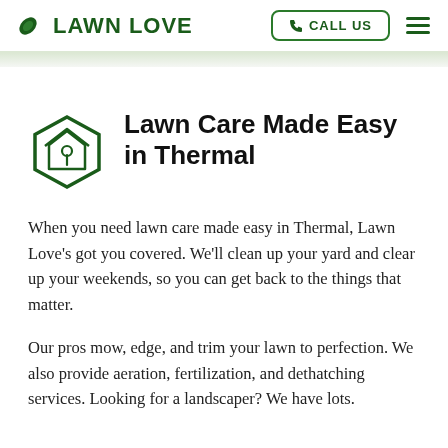LAWN LOVE | CALL US
Lawn Care Made Easy in Thermal
When you need lawn care made easy in Thermal, Lawn Love's got you covered. We'll clean up your yard and clear up your weekends, so you can get back to the things that matter.
Our pros mow, edge, and trim your lawn to perfection. We also provide aeration, fertilization, and dethatching services. Looking for a landscaper? We have lots.